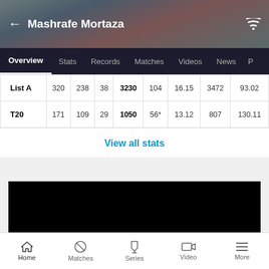Mashrafe Mortaza
|  | col1 | col2 | col3 | col4 | col5 | col6 | col7 | col8 |
| --- | --- | --- | --- | --- | --- | --- | --- | --- |
| List A | 320 | 238 | 38 | 3230 | 104 | 16.15 | 3472 | 93.02 |
| T20 | 171 | 109 | 29 | 1050 | 56* | 13.12 | 807 | 130.11 |
View all stats
[Figure (photo): Black video player area]
Home  Matches  Series  Video  More